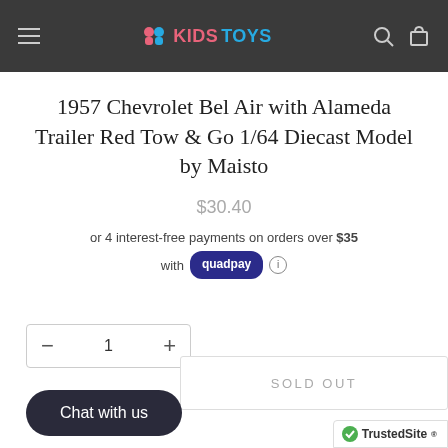KIDS TOYS (navigation header)
1957 Chevrolet Bel Air with Alameda Trailer Red Tow & Go 1/64 Diecast Model by Maisto
$30.40
or 4 interest-free payments on orders over $35 with quadpay
1 (quantity selector with − and +)
Chat with us
SOLD OUT
TrustedSite